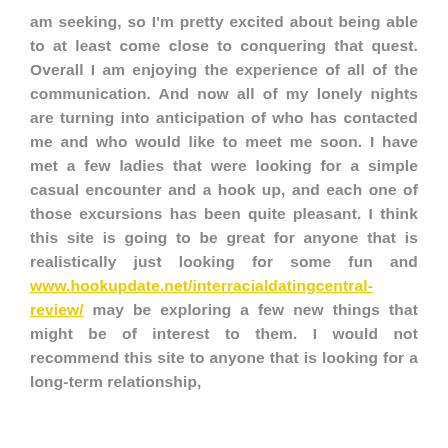am seeking, so I'm pretty excited about being able to at least come close to conquering that quest. Overall I am enjoying the experience of all of the communication. And now all of my lonely nights are turning into anticipation of who has contacted me and who would like to meet me soon. I have met a few ladies that were looking for a simple casual encounter and a hook up, and each one of those excursions has been quite pleasant. I think this site is going to be great for anyone that is realistically just looking for some fun and www.hookupdate.net/interracialdatingcentral-review/ may be exploring a few new things that might be of interest to them. I would not recommend this site to anyone that is looking for a long-term relationship,